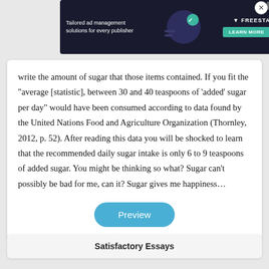[Figure (other): Ad banner for Freestar: 'Tailored ad management solutions for every publisher' with Learn More button]
write the amount of sugar that those items contained. If you fit the “average [statistic], between 30 and 40 teaspoons of ‘added’ sugar per day” would have been consumed according to data found by the United Nations Food and Agriculture Organization (Thornley, 2012, p. 52). After reading this data you will be shocked to learn that the recommended daily sugar intake is only 6 to 9 teaspoons of added sugar. You might be thinking so what? Sugar can’t possibly be bad for me, can it? Sugar gives me happiness…
Satisfactory Essays